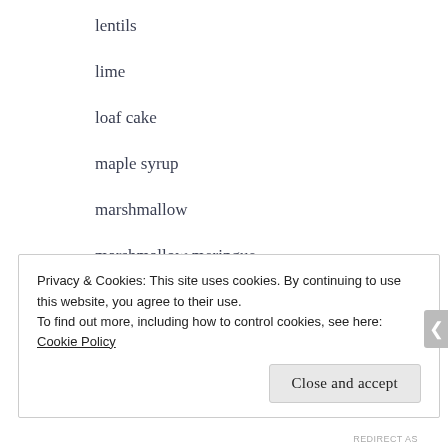lentils
lime
loaf cake
maple syrup
marshmallow
marshmallow meringue
meat subs
millet
miso
Privacy & Cookies: This site uses cookies. By continuing to use this website, you agree to their use.
To find out more, including how to control cookies, see here: Cookie Policy
Close and accept
REDIRECT AS